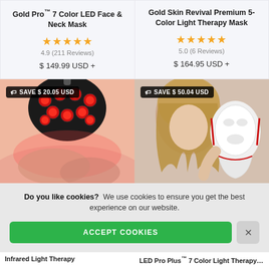Gold Pro™ 7 Color LED Face & Neck Mask
★★★★★ 4.9 (211 Reviews)
$ 149.99 USD +
Gold Skin Revival Premium 5-Color Light Therapy Mask
★★★★★ 5.0 (6 Reviews)
$ 164.95 USD +
[Figure (photo): LED infrared light therapy lamp with red LEDs, shown above a person lying down with save badge showing SAVE $20.05 USD]
[Figure (photo): Woman holding a white LED face and neck therapy mask, with save badge showing SAVE $50.04 USD]
Do you like cookies? We use cookies to ensure you get the best experience on our website.
ACCEPT COOKIES
Infrared Light Therapy
LED Pro Plus™ 7 Color Light Therapy Face & Neck